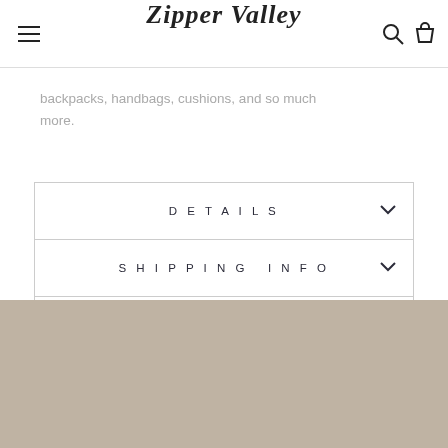Zipper Valley
...backpacks, handbags, cushions, and so much more.
DETAILS
SHIPPING INFO
HAPPINESS GUARANTEE